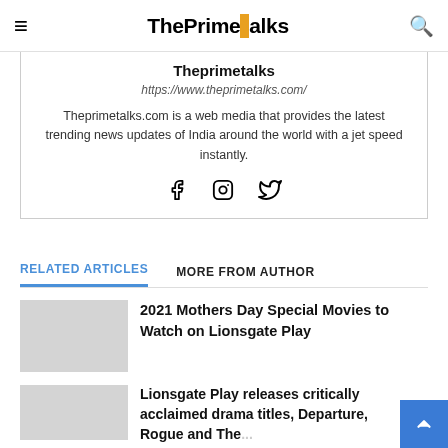ThePrimeTalks
Theprimetalks
https://www.theprimetalks.com/
Theprimetalks.com is a web media that provides the latest trending news updates of India around the world with a jet speed instantly.
[Figure (other): Social media icons: Facebook, Instagram, Twitter]
RELATED ARTICLES    MORE FROM AUTHOR
2021 Mothers Day Special Movies to Watch on Lionsgate Play
Lionsgate Play releases critically acclaimed drama titles, Departure, Rogue and The...